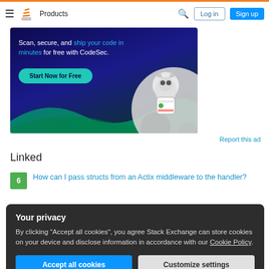Stack Overflow — Products | Log in | Sign up
[Figure (screenshot): CodeSec advertisement banner: 'Scan, secure, and ship your code in minutes for free with CodeSec.' with a 'Start Now for Free' button and a cat astronaut mascot on a moon-like surface against a dark blue/green background.]
Report this ad
Linked
6 How can I pass structs from an Actix middleware to the handler?
Your privacy
By clicking "Accept all cookies", you agree Stack Exchange can store cookies on your device and disclose information in accordance with our Cookie Policy.
Accept all cookies | Customize settings
0 ember.js + ember-simple-auth how can I load application